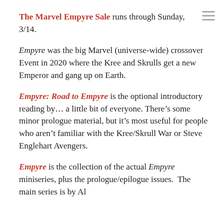The Marvel Empyre Sale runs through Sunday, 3/14.
Empyre was the big Marvel (universe-wide) crossover Event in 2020 where the Kree and Skrulls get a new Emperor and gang up on Earth.
Empyre: Road to Empyre is the optional introductory reading by… a little bit of everyone. There's some minor prologue material, but it's most useful for people who aren't familiar with the Kree/Skrull War or Steve Englehart Avengers.
Empyre is the collection of the actual Empyre miniseries, plus the prologue/epilogue issues.  The main series is by Al